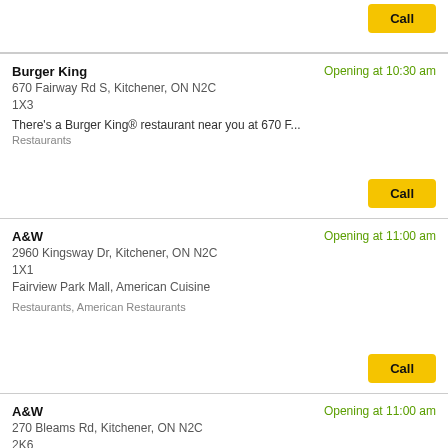Call
Burger King
670 Fairway Rd S, Kitchener, ON N2C 1X3
There's a Burger King® restaurant near you at 670 F...
Restaurants
Opening at 10:30 am
Call
A&W
2960 Kingsway Dr, Kitchener, ON N2C 1X1
Fairview Park Mall, American Cuisine
Restaurants, American Restaurants
Opening at 11:00 am
Call
A&W
270 Bleams Rd, Kitchener, ON N2C 2K6
American Cuisine
Opening at 11:00 am